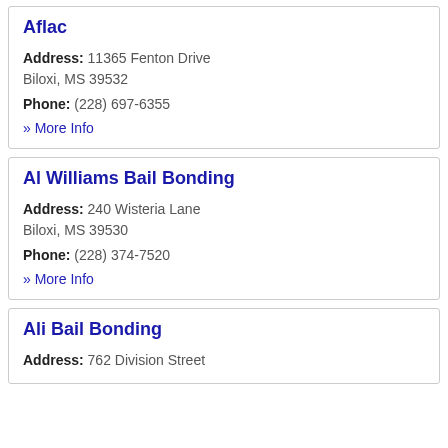Aflac
Address: 11365 Fenton Drive Biloxi, MS 39532
Phone: (228) 697-6355
» More Info
Al Williams Bail Bonding
Address: 240 Wisteria Lane Biloxi, MS 39530
Phone: (228) 374-7520
» More Info
Ali Bail Bonding
Address: 762 Division Street